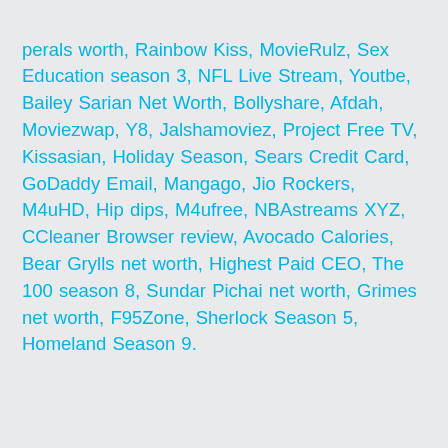perals worth, Rainbow Kiss, MovieRulz, Sex Education season 3, NFL Live Stream, Youtbe, Bailey Sarian Net Worth, Bollyshare, Afdah, Moviezwap, Y8, Jalshamoviez, Project Free TV, Kissasian, Holiday Season, Sears Credit Card, GoDaddy Email, Mangago, Jio Rockers, M4uHD, Hip dips, M4ufree, NBAstreams XYZ, CCleaner Browser review, Avocado Calories, Bear Grylls net worth, Highest Paid CEO, The 100 season 8, Sundar Pichai net worth, Grimes net worth, F95Zone, Sherlock Season 5, Homeland Season 9.